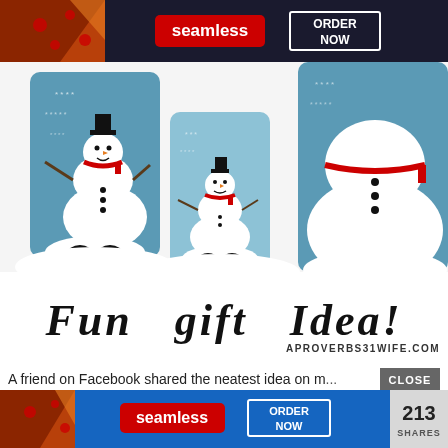[Figure (infographic): Top advertisement banner with pizza image on left, Seamless red badge in center, and ORDER NOW button in white border on right, dark background]
[Figure (photo): Three blue cylindrical candle holders decorated with white textured snowman designs, with snowflake patterns on the blue glass, arranged in a row on a white surface]
Fun Gift Idea!
APROVERBS31WIFE.COM
A friend on Facebook shared the neatest idea on m... winter
[Figure (infographic): CLOSE button overlay in dark gray, bottom advertisement with blue background, pizza image, Seamless red badge, ORDER NOW button, and 213 SHARES count on right]